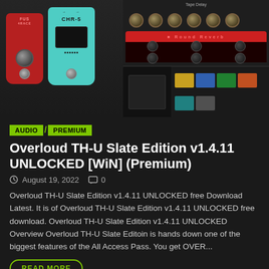[Figure (screenshot): Screenshot of Overloud TH-U Slate Edition plugin interface showing guitar pedals (fuzz, chorus) and rack-mounted amp simulator units with knobs and controls on dark background]
AUDIO
PREMIUM
Overloud TH-U Slate Edition v1.4.11 UNLOCKED [WiN] (Premium)
August 19, 2022   0
Overloud TH-U Slate Edition v1.4.11 UNLOCKED free Download Latest. It is of Overloud TH-U Slate Edition v1.4.11 UNLOCKED free download. Overloud TH-U Slate Edition v1.4.11 UNLOCKED Overview Overloud TH-U Slate Editoin is hands down one of the biggest features of the All Access Pass. You get OVER...
READ MORE